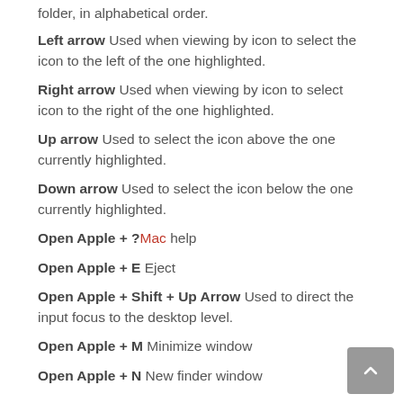folder, in alphabetical order.
Left arrow Used when viewing by icon to select the icon to the left of the one highlighted.
Right arrow Used when viewing by icon to select icon to the right of the one highlighted.
Up arrow Used to select the icon above the one currently highlighted.
Down arrow Used to select the icon below the one currently highlighted.
Open Apple + ? Mac help
Open Apple + E Eject
Open Apple + Shift + Up Arrow Used to direct the input focus to the desktop level.
Open Apple + M Minimize window
Open Apple + N New finder window